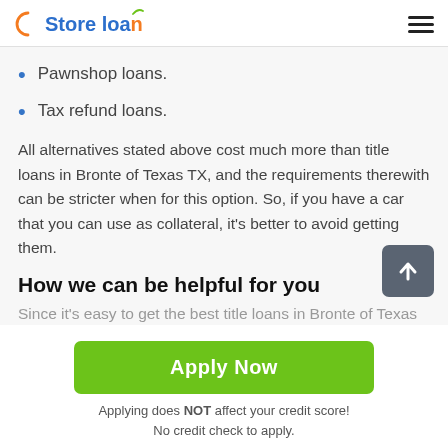Store loan
Pawnshop loans.
Tax refund loans.
All alternatives stated above cost much more than title loans in Bronte of Texas TX, and the requirements therewith can be stricter when for this option. So, if you have a car that you can use as collateral, it's better to avoid getting them.
How we can be helpful for you
Since it's easy to get the best title loans in Bronte of Texas
Apply Now
Applying does NOT affect your credit score!
No credit check to apply.